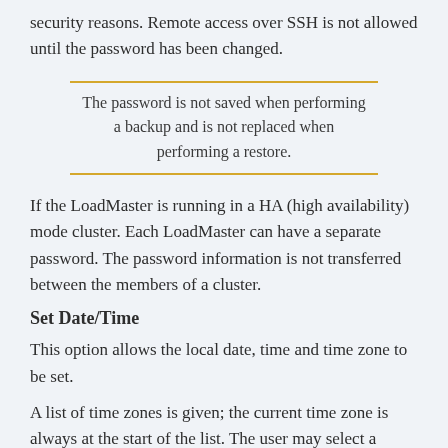security reasons. Remote access over SSH is not allowed until the password has been changed.
The password is not saved when performing a backup and is not replaced when performing a restore.
If the LoadMaster is running in a HA (high availability) mode cluster. Each LoadMaster can have a separate password. The password information is not transferred between the members of a cluster.
Set Date/Time
This option allows the local date, time and time zone to be set.
A list of time zones is given; the current time zone is always at the start of the list. The user may select a different time